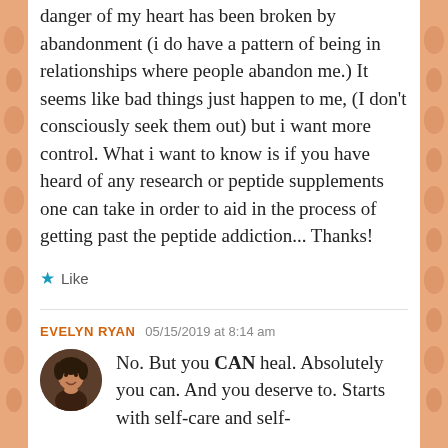danger of my heart has been broken by abandonment (i do have a pattern of being in relationships where people abandon me.) It seems like bad things just happen to me, (I don't consciously seek them out) but i want more control. What i want to know is if you have heard of any research or peptide supplements one can take in order to aid in the process of getting past the peptide addiction... Thanks!
★ Like
EVELYN RYAN   05/15/2019 at 8:14 am
[Figure (photo): Circular avatar photo of Evelyn Ryan, a woman with dark hair]
No. But you CAN heal. Absolutely you can. And you deserve to. Starts with self-care and self-